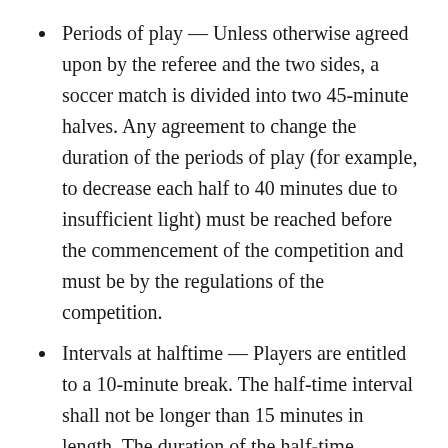Periods of play — Unless otherwise agreed upon by the referee and the two sides, a soccer match is divided into two 45-minute halves. Any agreement to change the duration of the periods of play (for example, to decrease each half to 40 minutes due to insufficient light) must be reached before the commencement of the competition and must be by the regulations of the competition.
Intervals at halftime — Players are entitled to a 10-minute break. The half-time interval shall not be longer than 15 minutes in length. The duration of the half-time holiday must be specified in the competition rules. Only with the referee's permission may the size of the half-time interval be changed.
Exceptions are given for time lost due to